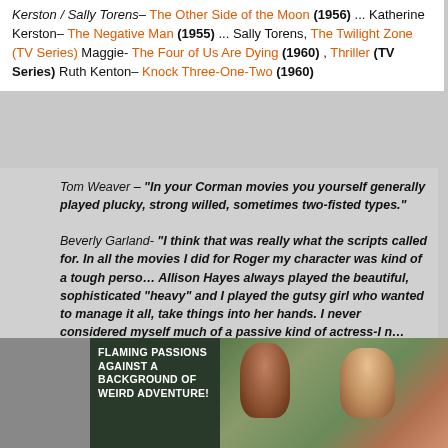Kerston / Sally Torens– The Other Side of the Moon (1956) ... Katherine Kerston– The Negative Man (1955) ... Sally Torens, The Twilight Zone (TV Series) Maggie- The Four of Us Are Dying (1960) , Thriller (TV Series) Ruth Kenton– Knock Three-One-Two (1960)
Tom Weaver – "In your Corman movies you yourself generally played plucky, strong willed, sometimes two-fisted types."
Beverly Garland- "I think that was really what the scripts called for. In all the movies I did for Roger my character was kind of a tough person. Allison Hayes always played the beautiful, sophisticated "heavy" and I played the gutsy girl who wanted to manage it all, take things into her hands. I never considered myself much of a passive kind of actress-I never was very comfortable in love scenes, never comfortable playing a sweet, lovable lady. Maybe if the script wasn't written that way, then probably a lot of it I brought to the role myself. I felt I did that better than playing a passive part."
[Figure (photo): Movie poster and scene image. Poster text reads: FLAMING PASSIONS AGAINST A BACKGROUND OF WEIRD ADVENTURE! Scene shows two women struggling outdoors in a forest setting.]